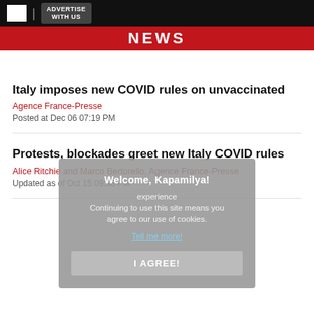ADVERTISE WITH US | NEWS
Italy imposes new COVID rules on unvaccinated
Agence France-Presse
Posted at Dec 06 07:19 PM
Protests, blockades greet new Italy COVID rules
Alice Ritchie and Marco Bertorello, Agence France-Presse
Updated as of Oct 15 09:38 PM
[Figure (screenshot): Cookie consent overlay popup reading: 'Welcome, Kapamilya! experience Continuing to use this site means you agree to our use of cookies. Tell me more! I AGREE!']
In Rome hospital, unvaccinated patients fill COVID beds
Sonia Logre with Alexandria Sage, Agence France-Presse